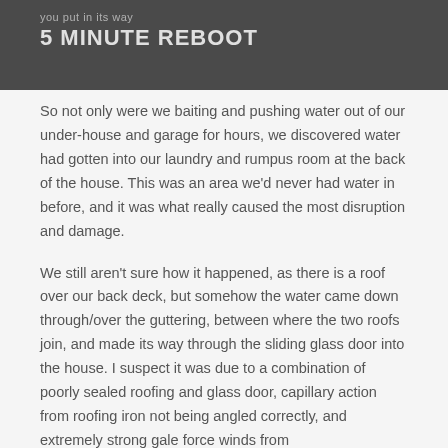you put in its way
5 MINUTE REBOOT
So not only were we baiting and pushing water out of our under-house and garage for hours, we discovered water had gotten into our laundry and rumpus room at the back of the house. This was an area we'd never had water in before, and it was what really caused the most disruption and damage.
We still aren't sure how it happened, as there is a roof over our back deck, but somehow the water came down through/over the guttering, between where the two roofs join, and made its way through the sliding glass door into the house. I suspect it was due to a combination of poorly sealed roofing and glass door, capillary action from roofing iron not being angled correctly, and extremely strong gale force winds from